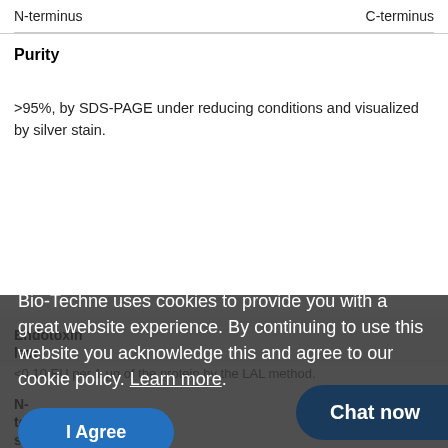| N-terminus | C-terminus |
| Purity | >95%, by SDS-PAGE under reducing conditions and visualized by silver stain. |
Endotoxin level
<0.10 EU per 1 µg of the protein by the LAL method.
N-terminal sequence
Bio-Techne uses cookies to provide you with a great website experience. By continuing to use this website you acknowledge this and agree to our cookie policy. Learn more.